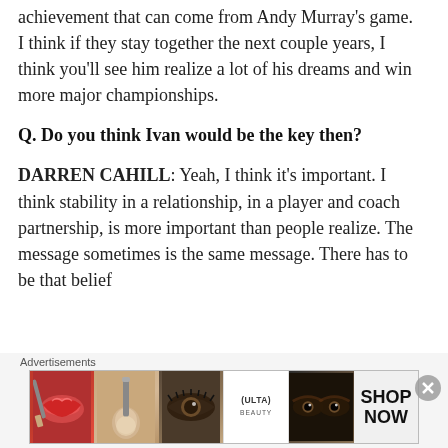achievement that can come from Andy Murray's game.  I think if they stay together the next couple years, I think you'll see him realize a lot of his dreams and win more major championships.
Q. Do you think Ivan would be the key then?
DARREN CAHILL:  Yeah, I think it's important.  I think stability in a relationship, in a player and coach partnership, is more important than people realize.  The message sometimes is the same message.  There has to be that belief
Advertisements
[Figure (photo): Advertisements banner showing makeup/beauty images with ULTA logo and 'SHOP NOW' text]